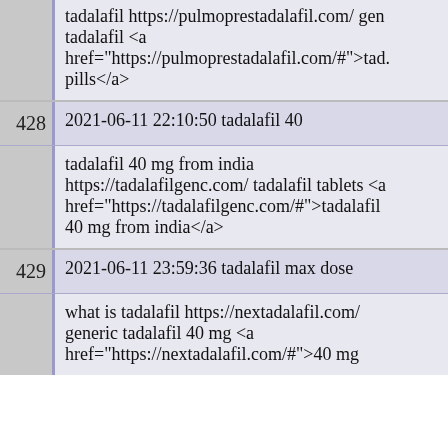| # | Content |
| --- | --- |
| 427 (partial) | tadalafil https://pulmoprestadalafil.com/ gene tadalafil <a href="https://pulmoprestadalafil.com/#">tad. pills</a> |
| 428 | 2021-06-11 22:10:50 tadalafil 40 | tadalafil 40 mg from india https://tadalafilgenc.com/ tadalafil tablets <a href="https://tadalafilgenc.com/#">tadalafil 40 mg from india</a> |
| 429 | 2021-06-11 23:59:36 tadalafil max dose | what is tadalafil https://nextadalafil.com/ generic tadalafil 40 mg <a href="https://nextadalafil.com/#">40 mg (partial) |